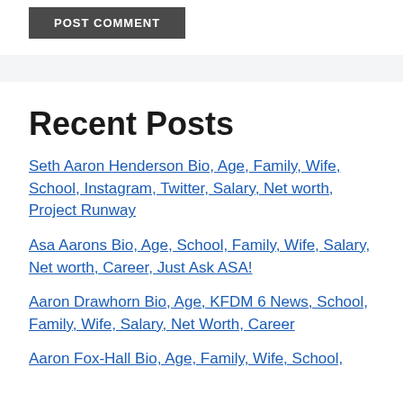[Figure (other): Post Comment button - dark gray rectangular button with white uppercase text]
Recent Posts
Seth Aaron Henderson Bio, Age, Family, Wife, School, Instagram, Twitter, Salary, Net worth, Project Runway
Asa Aarons Bio, Age, School, Family, Wife, Salary, Net worth, Career, Just Ask ASA!
Aaron Drawhorn Bio, Age, KFDM 6 News, School, Family, Wife, Salary, Net Worth, Career
Aaron Fox-Hall Bio, Age, Family, Wife, School,